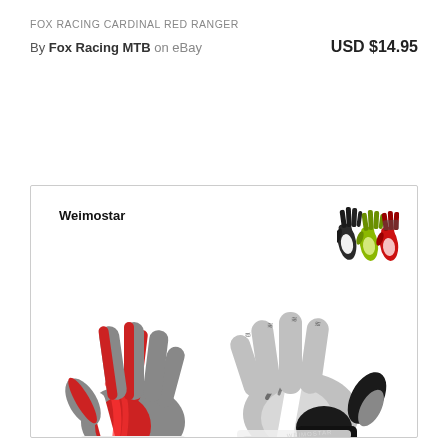FOX RACING CARDINAL RED RANGER
By Fox Racing MTB on eBay    USD $14.95
[Figure (photo): Product listing image showing Weimostar brand cycling gloves. Top right shows three small thumbnail gloves in black, yellow-green, and red colorways. Main image shows two full-size gloves: left glove in red/gray design with 'Weimostar' text on cuff, right glove showing the palm side in gray/black.]